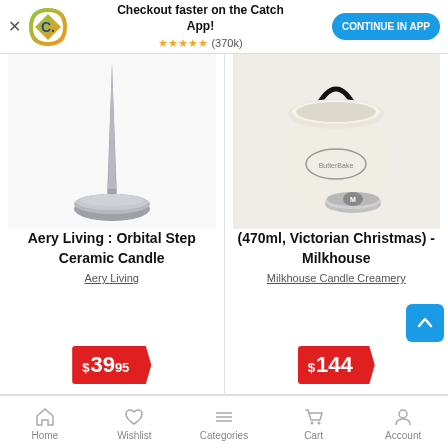[Figure (screenshot): Catch app promotional banner with logo, 5-star rating (370k), and CONTINUE IN APP button]
[Figure (photo): Aery Living Orbital Step Ceramic Candle holder - silver metallic spike on circular base]
Aery Living : Orbital Step Ceramic Candle
Aery Living
$39.95
[Figure (photo): Milkhouse Candle Creamery jar candle with handle and lid - cream colored, 470ml Victorian Christmas]
(470ml, Victorian Christmas) - Milkhouse
Milkhouse Candle Creamery
$144
Home  Wishlist  Categories  Cart  Account